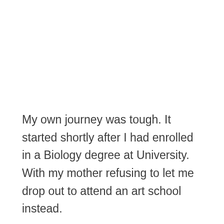My own journey was tough. It started shortly after I had enrolled in a Biology degree at University. With my mother refusing to let me drop out to attend an art school instead.